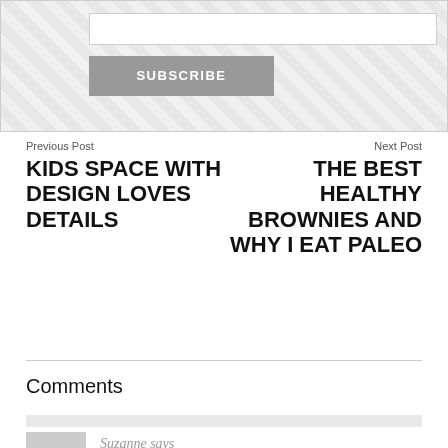[Figure (screenshot): Subscribe box with text input field and grey SUBSCRIBE button, decorative patterned background]
Previous Post
KIDS SPACE WITH DESIGN LOVES DETAILS
Next Post
THE BEST HEALTHY BROWNIES AND WHY I EAT PALEO
Comments
Suzanne says